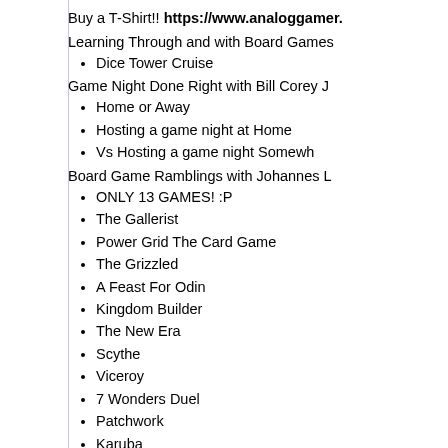Buy a T-Shirt!! https://www.analoggamer...
Learning Through and with Board Games...
Dice Tower Cruise
Game Night Done Right with Bill Corey J...
Home or Away
Hosting a game night at Home
Vs Hosting a game night Somewh...
Board Game Ramblings with Johannes L...
ONLY 13 GAMES! :P
The Gallerist
Power Grid The Card Game
The Grizzled
A Feast For Odin
Kingdom Builder
The New Era
Scythe
Viceroy
7 Wonders Duel
Patchwork
Karuba
Bora Bora
A Song! The Cult of the New
Kerensa and Brandon Chat with special G...
Patchwork
Cottage Garden
Murano
Galaxy Trucker
Can't Stop+